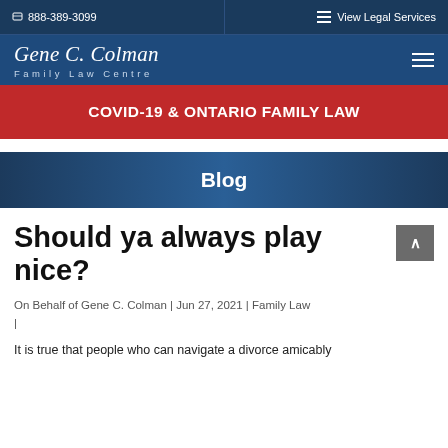888-389-3099 | View Legal Services
Gene C. Colman Family Law Centre
COVID-19 & ONTARIO FAMILY LAW
Blog
Should ya always play nice?
On Behalf of Gene C. Colman | Jun 27, 2021 | Family Law |
It is true that people who can navigate a divorce amicably